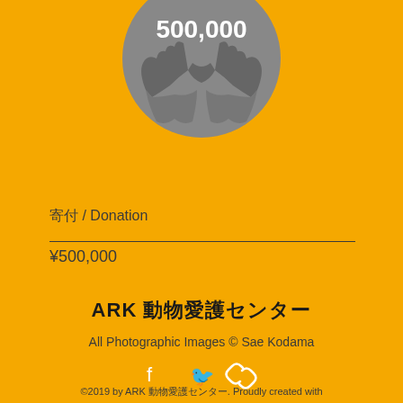[Figure (illustration): Gray circular icon with two cupped hands holding something, with '500,000' text in white inside the circle at top]
寄付 / Donation
¥500,000
ARK 動物愛護センター
All Photographic Images © Sae Kodama
[Figure (illustration): Social media icons: Facebook, Twitter, and link icons in white]
©2019 by ARK 動物愛護センター. Proudly created with